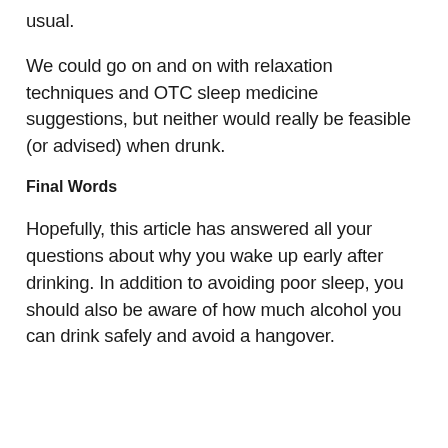usual.
We could go on and on with relaxation techniques and OTC sleep medicine suggestions, but neither would really be feasible (or advised) when drunk.
Final Words
Hopefully, this article has answered all your questions about why you wake up early after drinking. In addition to avoiding poor sleep, you should also be aware of how much alcohol you can drink safely and avoid a hangover.